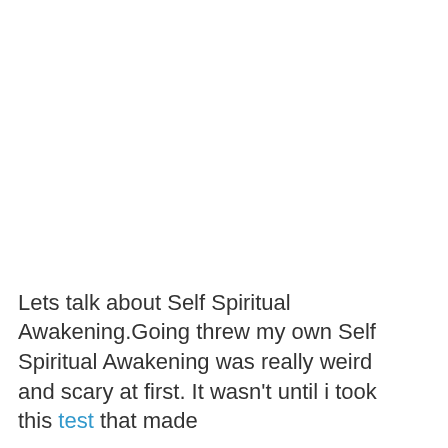Lets talk about Self Spiritual Awakening.Going threw my own Self Spiritual Awakening was really weird and scary at first. It wasn't until i took this test that made